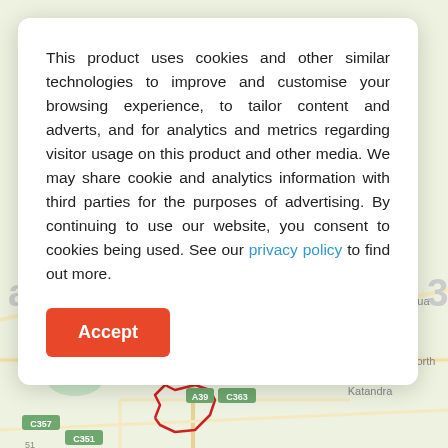[Figure (map): Google Maps style map showing the area around Grahamvale VIC 3631, with locality names including Kaarina, Wunghnu, Youanmite, Marungi, Yabba North, Katandra, ndera, Bunbartha, road labels C358, A39, C363, C357, C351, and a red boundary outline of the region.]
around Grahamvale VIC 3631
This product uses cookies and other similar technologies to improve and customise your browsing experience, to tailor content and adverts, and for analytics and metrics regarding visitor usage on this product and other media. We may share cookie and analytics information with third parties for the purposes of advertising. By continuing to use our website, you consent to cookies being used. See our privacy policy to find out more.
Accept